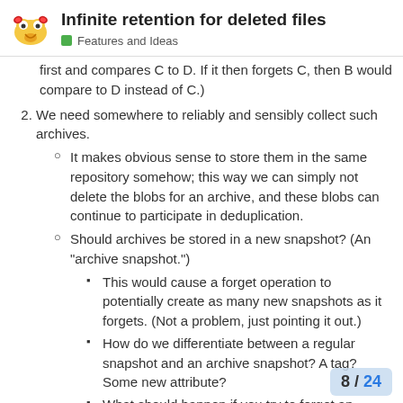Infinite retention for deleted files — Features and Ideas
first and compares C to D. If it then forgets C, then B would compare to D instead of C.)
2. We need somewhere to reliably and sensibly collect such archives.
It makes obvious sense to store them in the same repository somehow; this way we can simply not delete the blobs for an archive, and these blobs can continue to participate in deduplication.
Should archives be stored in a new snapshot? (An "archive snapshot.")
This would cause a forget operation to potentially create as many new snapshots as it forgets. (Not a problem, just pointing it out.)
How do we differentiate between a regular snapshot and an archive snapshot? A tag? Some new attribute?
What should happen if you try to forget an archive snapshot? Should this be perm... have to be handled specially so
8 / 24